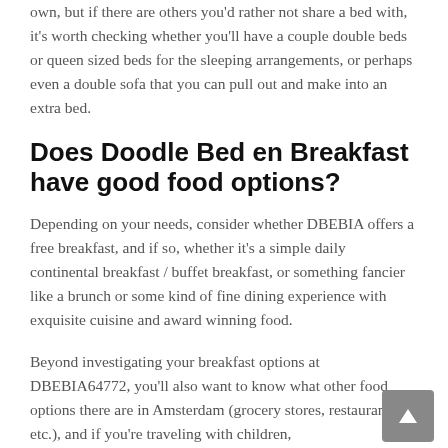own, but if there are others you'd rather not share a bed with, it's worth checking whether you'll have a couple double beds or queen sized beds for the sleeping arrangements, or perhaps even a double sofa that you can pull out and make into an extra bed.
Does Doodle Bed en Breakfast have good food options?
Depending on your needs, consider whether DBEBIA offers a free breakfast, and if so, whether it's a simple daily continental breakfast / buffet breakfast, or something fancier like a brunch or some kind of fine dining experience with exquisite cuisine and award winning food.
Beyond investigating your breakfast options at DBEBIA64772, you'll also want to know what other food options there are in Amsterdam (grocery stores, restaurants, etc.), and if you're traveling with children,